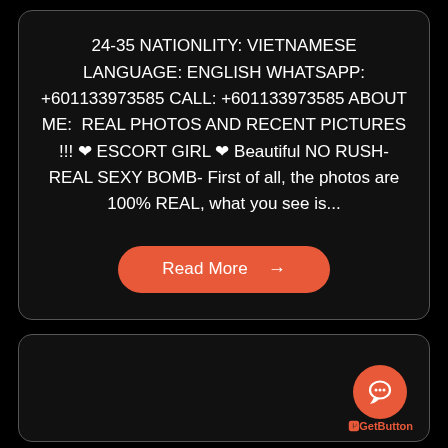24-35 NATIONLITY: VIETNAMESE LANGUAGE: ENGLISH WHATSAPP: +601133973585 CALL: +601133973585 ABOUT ME:  REAL PHOTOS AND RECENT PICTURES !!! ❤ ESCORT GIRL ❤ Beautiful NO RUSH-REAL SEXY BOMB- First of all, the photos are 100% REAL, what you see is...
[Figure (other): Orange rounded button labeled 'Read More' with a right arrow]
[Figure (other): Dark card with orange circular chat/GetButton widget in bottom right corner]